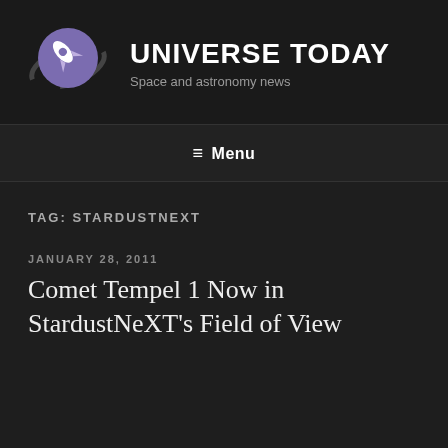[Figure (logo): Universe Today logo: purple circle with white rocket/spacecraft icon and dark orbital arc]
UNIVERSE TODAY
Space and astronomy news
≡ Menu
TAG: STARDUSTNEXT
JANUARY 28, 2011
Comet Tempel 1 Now in StardustNeXT's Field of View